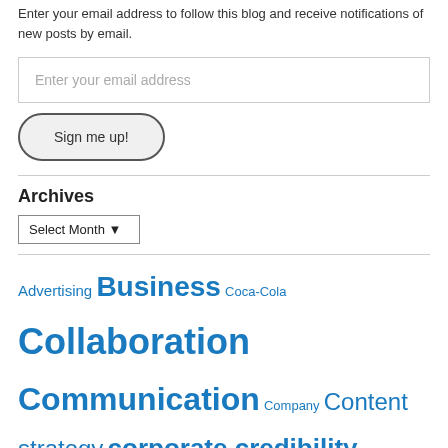Enter your email address to follow this blog and receive notifications of new posts by email.
[Figure (other): Email input text field with placeholder 'Enter your email address']
[Figure (other): Button labeled 'Sign me up!' with rounded pill border]
Archives
[Figure (other): Dropdown select menu labeled 'Select Month']
Advertising Business Coca-Cola Collaboration Communication Company Content strategy corporate credibility Corporate social CRM Corporate social